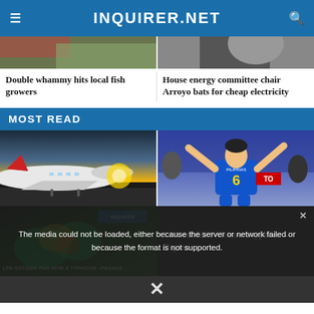INQUIRER.NET
[Figure (photo): Partial image of fish growers story - top portion cropped]
[Figure (photo): Partial image of house energy committee story - top portion cropped]
Double whammy hits local fish growers
House energy committee chair Arroyo bats for cheap electricity
MOST READ
[Figure (photo): Airplane on tarmac with sunset sky background]
[Figure (photo): Basketball player in Pilipinas jersey number 6 celebrating with arms raised]
[Figure (screenshot): Weather map video thumbnail with text LPA OUTSIDE PAR NOW A TYPHOON -PAGASA overlaid with media error message]
LPA outside PAR now a typhoon —Pagasa
The media could not be loaded, either because the server or network failed or because the format is not supported.